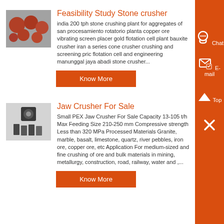[Figure (photo): Photograph of red/orange spherical stone crusher balls/grinding media]
Feasibility Study Stone crusher
india 200 tph stone crushing plant for aggregates of san procesamiento rotatorio planta copper ore vibrating screen placer gold flotation cell plant bauxite crusher iran a series cone crusher crushing and screening pric flotation cell and engineering manunggal jaya abadi stone crusher...
Know More
[Figure (photo): Photograph of jaw crusher parts including metal plates and components]
Jaw Crusher For Sale
Small PEX Jaw Crusher For Sale Capacity 13-105 t/h Max Feeding Size 210-250 mm Compressive strength Less than 320 MPa Processed Materials Granite, marble, basalt, limestone, quartz, river pebbles, iron ore, copper ore, etc Application For medium-sized and fine crushing of ore and bulk materials in mining, metallurgy, construction, road, railway, water and ,...
Know More